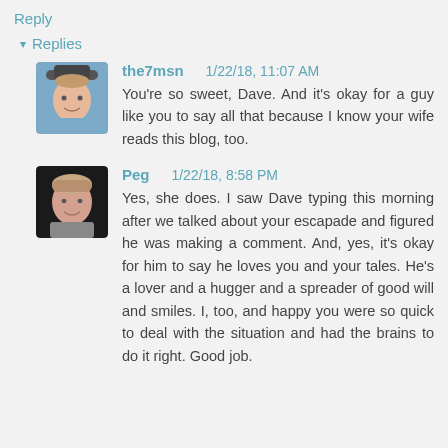Reply
▾ Replies
the7msn   1/22/18, 11:07 AM
You're so sweet, Dave. And it's okay for a guy like you to say all that because I know your wife reads this blog, too.
Peg  1/22/18, 8:58 PM
Yes, she does. I saw Dave typing this morning after we talked about your escapade and figured he was making a comment. And, yes, it's okay for him to say he loves you and your tales. He's a lover and a hugger and a spreader of good will and smiles. I, too, and happy you were so quick to deal with the situation and had the brains to do it right. Good job.